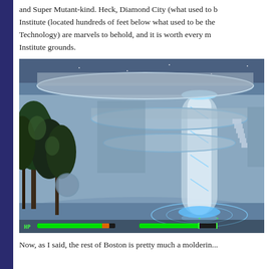and Super Mutant-kind. Heck, Diamond City (what used to b... Institute (located hundreds of feet below what used to be the... Technology) are marvels to behold, and it is worth every m... Institute grounds.
[Figure (screenshot): Screenshot from Fallout 4 video game showing The Institute interior — a futuristic facility with a glowing cylindrical structure, spiral staircases, circular platform with trees visible on the left, and a HUD showing HP bar in green at the bottom.]
Now, as I said, the rest of Boston is pretty much a molderin...